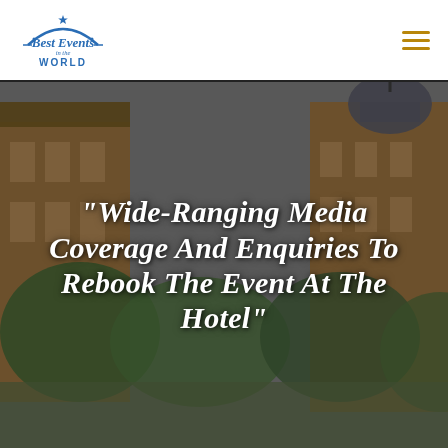The Best Events in the World — logo and hamburger menu
[Figure (photo): Exterior photo of a grand hotel building with ornate Victorian architecture, warm brick facade, dome, and lush green trees in foreground, sky overhead, darkened/overlaid for text legibility]
"Wide-Ranging Media Coverage And Enquiries To Rebook The Event At The Hotel"